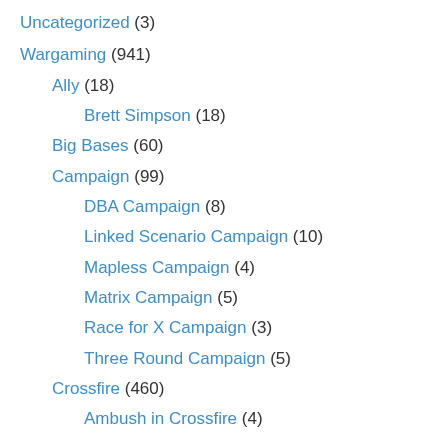Uncategorized (3)
Wargaming (941)
Ally (18)
Brett Simpson (18)
Big Bases (60)
Campaign (99)
DBA Campaign (8)
Linked Scenario Campaign (10)
Mapless Campaign (4)
Matrix Campaign (5)
Race for X Campaign (3)
Three Round Campaign (5)
Crossfire (460)
Ambush in Crossfire (4)